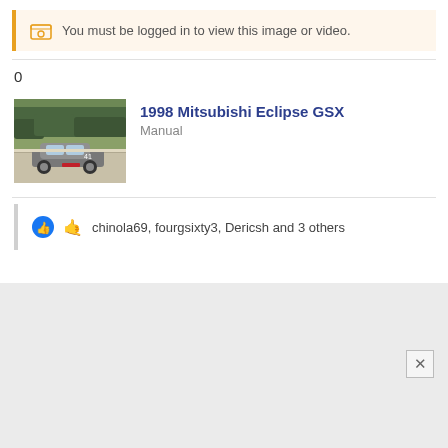You must be logged in to view this image or video.
0
[Figure (photo): Thumbnail of a silver Mitsubishi Eclipse GSX on a racing track]
1998 Mitsubishi Eclipse GSX
Manual
chinola69, fourgsixty3, Dericsh and 3 others